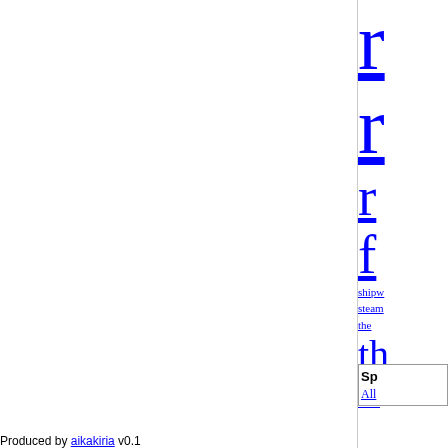r
r
r
f
shipw
steam
the
th
31 r
swee
Sp
All
Produced by aikakiria v0.1